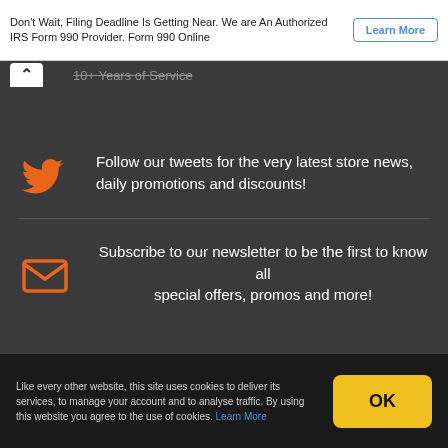Don't Wait, Filing Deadline Is Getting Near. We are An Authorized IRS Form 990 Provider. Form 990 Online
Learn More
10+ Years of Service
Follow our tweets for the very latest store news, daily promotions and discounts!
Subscribe to our newsletter to be the first to know all special offers, promos and more!
Like every other website, this site uses cookies to deliver its services, to manage your account and to analyse traffic. By using this website you agree to the use of cookies. Learn More
OK